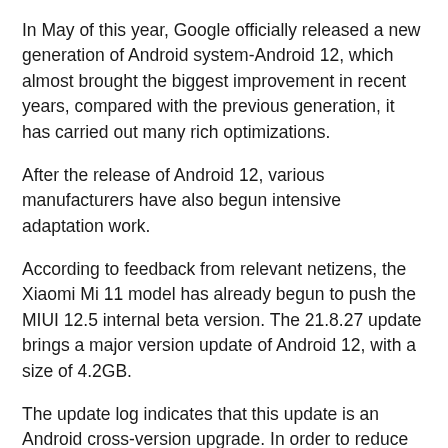In May of this year, Google officially released a new generation of Android system-Android 12, which almost brought the biggest improvement in recent years, compared with the previous generation, it has carried out many rich optimizations.
After the release of Android 12, various manufacturers have also begun intensive adaptation work.
According to feedback from relevant netizens, the Xiaomi Mi 11 model has already begun to push the MIUI 12.5 internal beta version. The 21.8.27 update brings a major version update of Android 12, with a size of 4.2GB.
The update log indicates that this update is an Android cross-version upgrade. In order to reduce risks, it is recommended to back up personal data in advance.
This update takes a long time to start and load, and performance and power consumption problems such as heat may occur within a short period of time after startup.